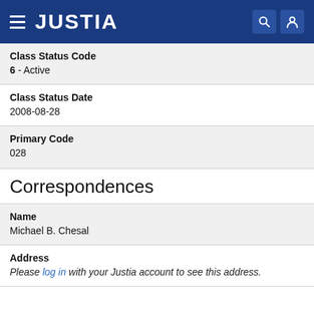JUSTIA
Class Status Code
6 - Active
Class Status Date
2008-08-28
Primary Code
028
Correspondences
Name
Michael B. Chesal
Address
Please log in with your Justia account to see this address.